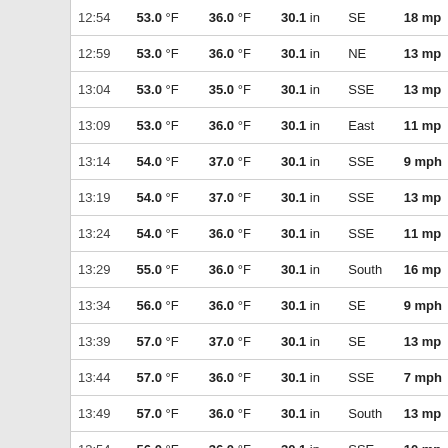| Time | Temp | Dew Point | Pressure | Wind Dir | Wind Speed |
| --- | --- | --- | --- | --- | --- |
| 12:54 | 53.0 °F | 36.0 °F | 30.1 in | SE | 18 mp... |
| 12:59 | 53.0 °F | 36.0 °F | 30.1 in | NE | 13 mp... |
| 13:04 | 53.0 °F | 35.0 °F | 30.1 in | SSE | 13 mp... |
| 13:09 | 53.0 °F | 36.0 °F | 30.1 in | East | 11 mp... |
| 13:14 | 54.0 °F | 37.0 °F | 30.1 in | SSE | 9 mph |
| 13:19 | 54.0 °F | 37.0 °F | 30.1 in | SSE | 13 mp... |
| 13:24 | 54.0 °F | 36.0 °F | 30.1 in | SSE | 11 mp... |
| 13:29 | 55.0 °F | 36.0 °F | 30.1 in | South | 16 mp... |
| 13:34 | 56.0 °F | 36.0 °F | 30.1 in | SE | 9 mph |
| 13:39 | 57.0 °F | 37.0 °F | 30.1 in | SE | 13 mp... |
| 13:44 | 57.0 °F | 36.0 °F | 30.1 in | SSE | 7 mph |
| 13:49 | 57.0 °F | 36.0 °F | 30.1 in | South | 13 mp... |
| 13:54 | 56.0 °F | 36.0 °F | 30.1 in | SSE | 10 mp... |
| 13:59 | 57.0 °F | 36.0 °F | 30.1 in | ESE | 13 mp... |